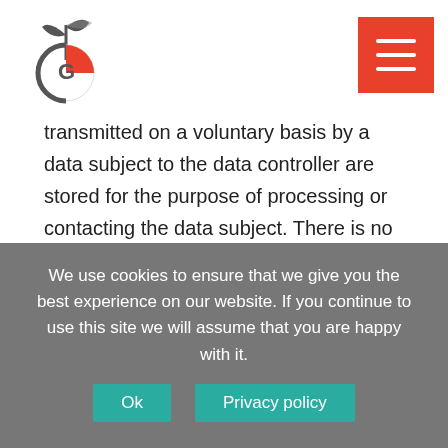[Logo] [Hamburger menu]
transmitted on a voluntary basis by a data subject to the data controller are stored for the purpose of processing or contacting the data subject. There is no transfer of this personal data to third parties.
6. Routine erasure and blocking of personal data
The data controller shall process and store the personal data of the data subject only for the period necessary to achieve the purpose of storage, or as far
We use cookies to ensure that we give you the best experience on our website. If you continue to use this site we will assume that you are happy with it.
Ok
Privacy policy